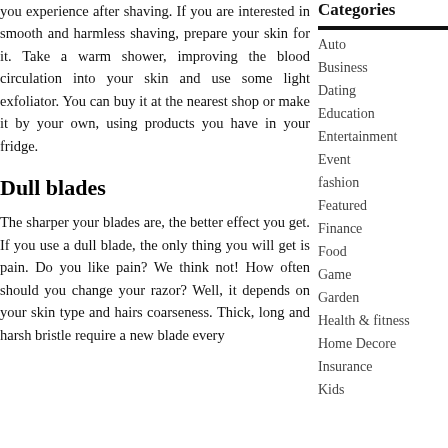you experience after shaving. If you are interested in smooth and harmless shaving, prepare your skin for it. Take a warm shower, improving the blood circulation into your skin and use some light exfoliator. You can buy it at the nearest shop or make it by your own, using products you have in your fridge.
Dull blades
The sharper your blades are, the better effect you get. If you use a dull blade, the only thing you will get is pain. Do you like pain? We think not! How often should you change your razor? Well, it depends on your skin type and hairs coarseness. Thick, long and harsh bristle require a new blade every
Categories
Auto
Business
Dating
Education
Entertainment
Event
fashion
Featured
Finance
Food
Game
Garden
Health & fitness
Home Decore
Insurance
Kids